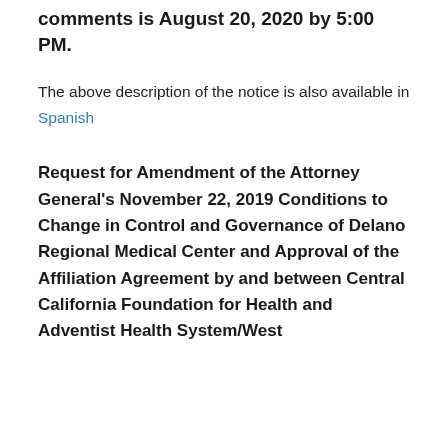comments is August 20, 2020 by 5:00 PM.
The above description of the notice is also available in Spanish
Request for Amendment of the Attorney General’s November 22, 2019 Conditions to Change in Control and Governance of Delano Regional Medical Center and Approval of the Affiliation Agreement by and between Central California Foundation for Health and Adventist Health System/West